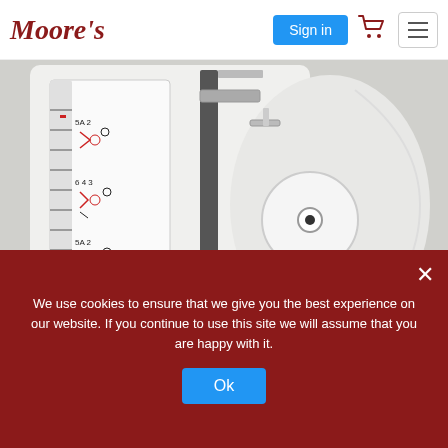Moore's | Sign in
[Figure (photo): Close-up photo of a sewing machine showing adjustable thread guides, needle area, and threading diagrams on the machine body. The machine is white with metallic components.]
Adjustable Thread Guides!
We use cookies to ensure that we give you the best experience on our website. If you continue to use this site we will assume that you are happy with it.